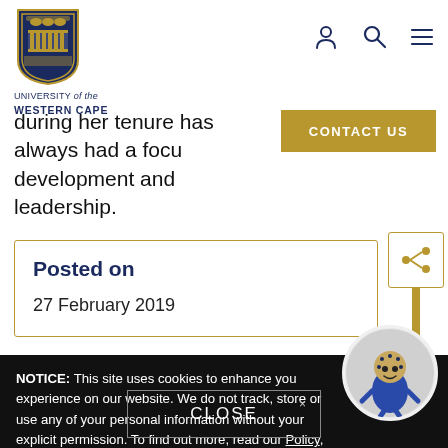[Figure (logo): University of the Western Cape shield logo with blue and gold design]
UNIVERSITY of the WESTERN CAPE
[Figure (illustration): Navigation icons: user/person icon, search/magnifier icon, hamburger menu icon]
during her tenure has always had a focus development and leadership.
[Figure (screenshot): CONTACT US button in gold/brown background]
[Figure (illustration): Share icon (network share symbol) in a gold-bordered box]
Posted on
27 February 2019
NOTICE: This site uses cookies to enhance you experience on our website. We do not track, store or use any of your personal information without your explicit permission. To find out more, read our Policy, which incorporates the Cookie Policy.
[Figure (illustration): University mascot character in a circular frame]
CLOSE ×